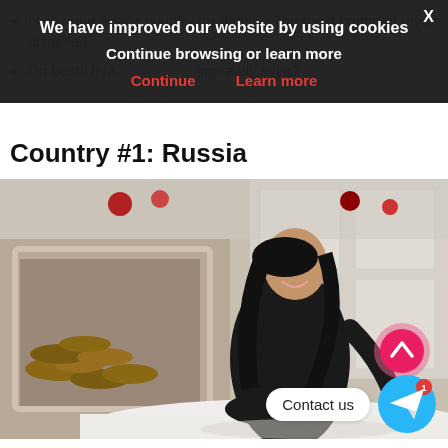Is Ukraine a safe country for dating? The most common myths dispelled
Do best Ukrainian dating really exist?
We have improved our website by using cookies
Continue browsing or learn more
Continue    Learn more
Country #1: Russia
[Figure (photo): A young woman with long dark hair wearing a black dress, posed on a white rug in a room with a fireplace and stacked firewood.]
Contact us